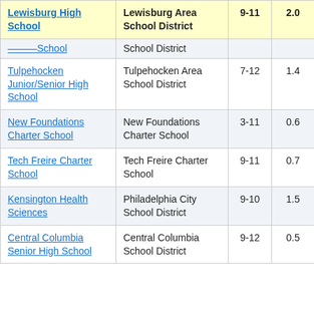| School | District | Grades | Score | ... |
| --- | --- | --- | --- | --- |
| Lewisburg High School | Lewisburg Area School District | 9-11 | 2.0 | ... |
| ...School | School District |  |  |  |
| Tulpehocken Junior/Senior High School | Tulpehocken Area School District | 7-12 | 1.4 | ... |
| New Foundations Charter School | New Foundations Charter School | 3-11 | 0.6 | ... |
| Tech Freire Charter School | Tech Freire Charter School | 9-11 | 0.7 | ... |
| Kensington Health Sciences | Philadelphia City School District | 9-10 | 1.5 | ... |
| Central Columbia Senior High School | Central Columbia School District | 9-12 | 0.5 | ... |